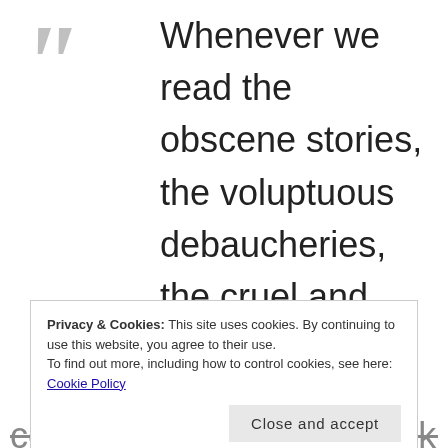Whenever we read the obscene stories, the voluptuous debaucheries, the cruel and tortuous executions, the unrelenting vindictiveness with which more than half the Bible is filled, it would be more consistant that we call it the
Privacy & Cookies: This site uses cookies. By continuing to use this website, you agree to their use. To find out more, including how to control cookies, see here: Cookie Policy
corrupt and brutalize mankind,